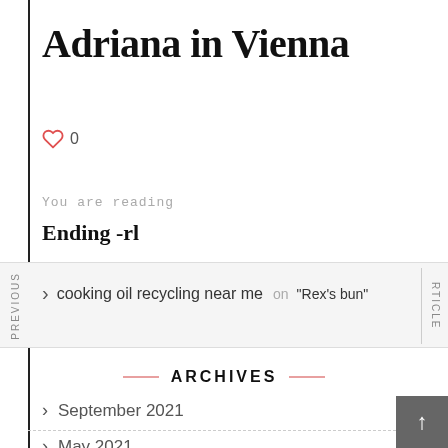Adriana in Vienna
♡ 0
You are reading
Ending -rl
PREVIOUS
cooking oil recycling near me on "Rex's bun"
RTICLE
ARCHIVES
September 2021
May 2021